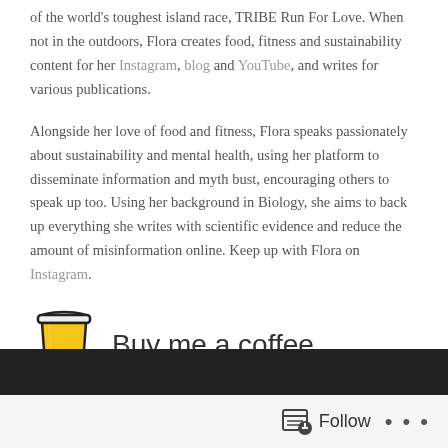of the world's toughest island race, TRIBE Run For Love. When not in the outdoors, Flora creates food, fitness and sustainability content for her Instagram, blog and YouTube, and writes for various publications.
Alongside her love of food and fitness, Flora speaks passionately about sustainability and mental health, using her platform to disseminate information and myth bust, encouraging others to speak up too. Using her background in Biology, she aims to back up everything she writes with scientific evidence and reduce the amount of misinformation online. Keep up with Flora on Instagram.
[Figure (illustration): Buy me a coffee button with a takeaway coffee cup icon (yellow cup with dark outline and lid) next to the text 'Buy me a coffee']
Follow ···